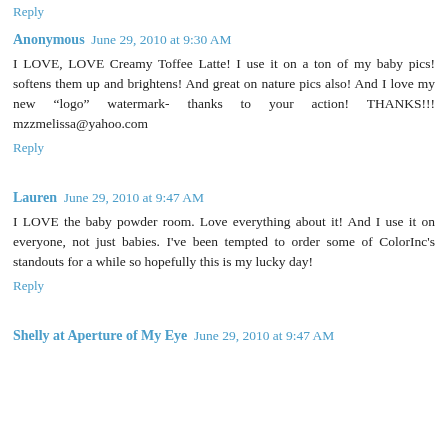Reply
Anonymous  June 29, 2010 at 9:30 AM
I LOVE, LOVE Creamy Toffee Latte! I use it on a ton of my baby pics! softens them up and brightens! And great on nature pics also! And I love my new "logo" watermark- thanks to your action! THANKS!!! mzzmelissa@yahoo.com
Reply
Lauren  June 29, 2010 at 9:47 AM
I LOVE the baby powder room. Love everything about it! And I use it on everyone, not just babies. I've been tempted to order some of ColorInc's standouts for a while so hopefully this is my lucky day!
Reply
Shelly at Aperture of My Eye  June 29, 2010 at 9:47 AM